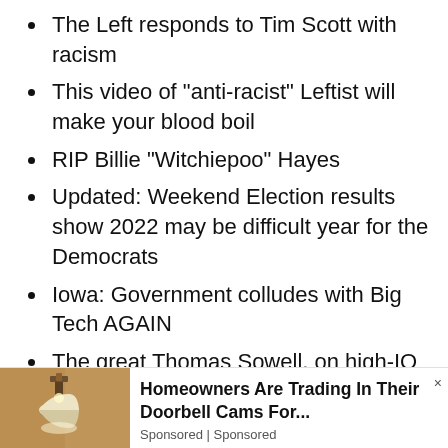The Left responds to Tim Scott with racism
This video of "anti-racist" Leftist will make your blood boil
RIP Billie "Witchiepoo" Hayes
Updated: Weekend Election results show 2022 may be difficult year for the Democrats
Iowa: Government colludes with Big Tech AGAIN
The great Thomas Sowell, on high-IQ "experts"
A Reader Writes Back…
[Figure (photo): Advertisement banner showing a wall-mounted lamp/light fixture with text: Homeowners Are Trading In Their Doorbell Cams For...]